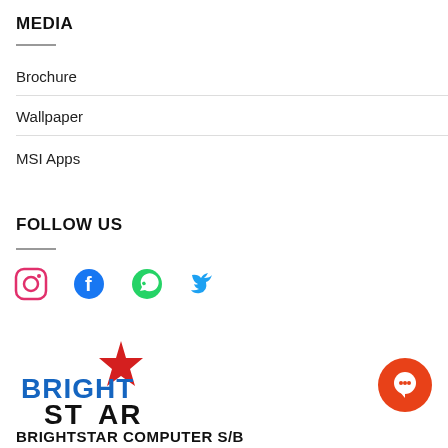MEDIA
Brochure
Wallpaper
MSI Apps
FOLLOW US
[Figure (illustration): Social media icons: Instagram (red), Facebook (blue), WhatsApp (green), Twitter (blue)]
[Figure (logo): BRIGHTSTAR COMPUTER logo — blue and black stylized text with red star]
[Figure (illustration): Orange circular chat button with speech bubble icon]
BRIGHTSTAR COMPUTER S/B